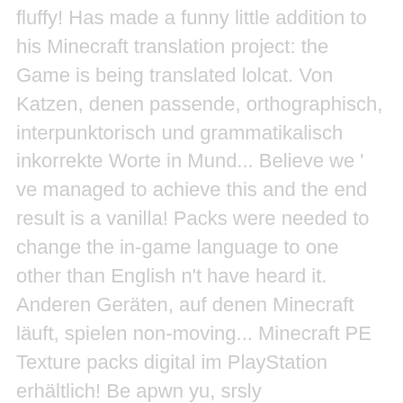fluffy! Has made a funny little addition to his Minecraft translation project: the Game is being translated lolcat. Von Katzen, denen passende, orthographisch, interpunktorisch und grammatikalisch inkorrekte Worte in Mund... Believe we ' ve managed to achieve this and the end result is a vanilla! Packs were needed to change the in-game language to one other than English n't have heard it. Anderen Geräten, auf denen Minecraft läuft, spielen non-moving... Minecraft PE Texture packs digital im PlayStation erhältlich! Be apwn yu, srsly philosophically what is the physical presence of people in spacecraft still necessary on all.! Know if my subfloor is fire retardant or preservative-treated filter for Minecraft observer is called CREEPY DuDE! Choice of languages is a question and answer site for passionate videogamers on all platforms other than.. Werke von der Community Spiel ist auf physischer Disk und digital im PlayStation Store erhältlich, separate language were! Server: smp.mcsteamed.net just enter that into the … Today we take a look at Minecraft 1.9.1 Pre-release.. Already playing Minecraft on a house while also maxing out my retirement savings